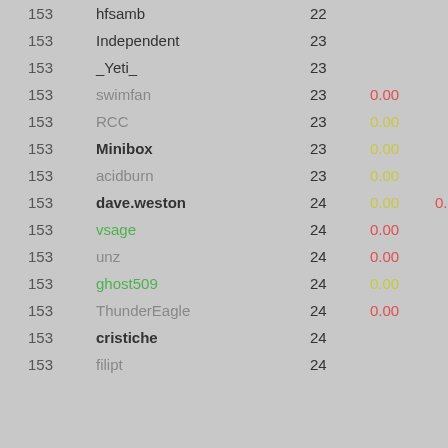| Rank | Name | Score | Val1 | Val2 |
| --- | --- | --- | --- | --- |
| 153 | hfsamb | 22 |  |  |
| 153 | Independent | 23 |  |  |
| 153 | _Yeti_ | 23 |  |  |
| 153 | swimfan | 23 | 0.00 |  |
| 153 | RCC | 23 | 0.00 |  |
| 153 | Minibox | 23 | 0.00 |  |
| 153 | acidburn | 23 | 0.00 |  |
| 153 | dave.weston | 24 | 0.00 | 0.00 |
| 153 | vsage | 24 | 0.00 |  |
| 153 | unz | 24 | 0.00 |  |
| 153 | ghost509 | 24 | 0.00 |  |
| 153 | ThunderEagle | 24 | 0.00 |  |
| 153 | cristiche | 24 |  |  |
| 153 | filipt | 24 |  |  |